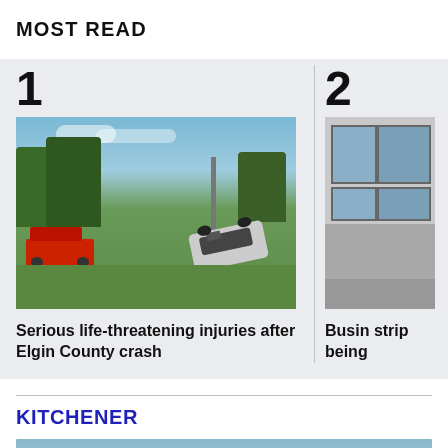MOST READ
[Figure (photo): Overturned car at accident scene with fire truck in background, on grass field]
Serious life-threatening injuries after Elgin County crash
[Figure (photo): Building exterior with glass windows]
Business strip being
KITCHENER
[Figure (photo): Outdoor scene, partial view]